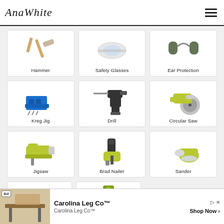AnaWhite
[Figure (illustration): Grid of woodworking/DIY tools. Row 1 (partial): Hammer, Safety Glasses, Ear Protection. Row 2: Kreg Jig (blue pocket hole jig), Drill (cordless), Circular Saw. Row 3: Jigsaw (green Ryobi), Brad Nailer (green Ryobi), Sander (green Ryobi). Row 4 (partial, cropped): Level, Drill Bit Set case.]
[Figure (infographic): Advertisement banner: Carolina Leg Co™ with shop now button]